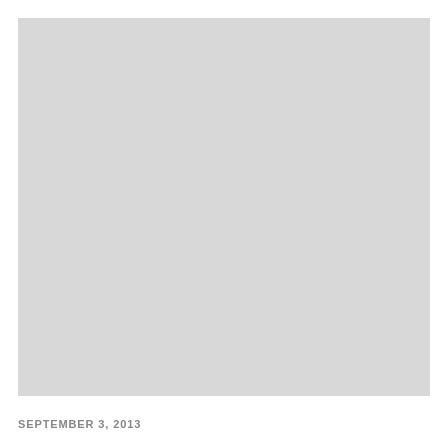[Figure (photo): Large light gray placeholder image area]
SEPTEMBER 3, 2013